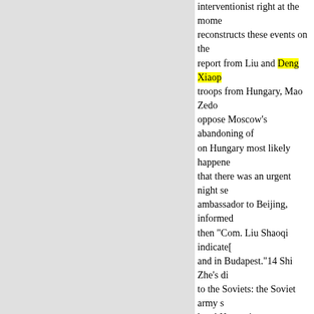interventionist right at the mome reconstructs these events on the report from Liu and Deng Xiaop troops from Hungary, Mao Zedo oppose Moscow's abandoning of on Hungary most likely happene that there was an urgent night se ambassador to Beijing, informed then "Com. Liu Shaoqi indicate[ and in Budapest."14 Shi Zhe's di to the Soviets: the Soviet army s loyal Hungarian communists to r Deng stressed that the Soviet tro internationalism."15

Later Mao Zedong (and the Ch reconstruction of these events. K factor when he described the Pol intervention in Hungary was his he claims, he convened an emerg all present go to Vnukovo airpor 16

The differences between the C fortuitous. They, as well as zigza